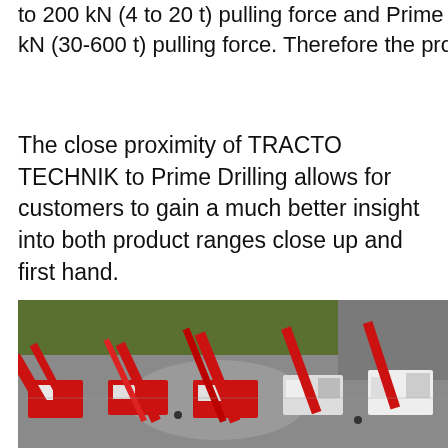to 200 kN (4 to 20 t) pulling force and Prime Dri... kN (30-600 t) pulling force. Therefore the produ...
The close proximity of TRACTO TECHNIK to Prime Drilling allows for customers to gain a much better insight into both product ranges close up and first hand.
[Figure (photo): Aerial view of multiple red and white horizontal directional drilling (HDD) rigs/machines parked side by side on a paved area with grass and a road visible in the background.]